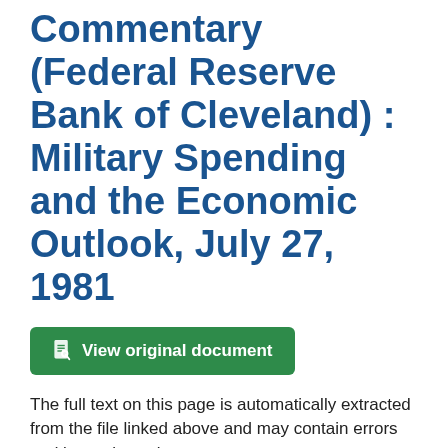Commentary (Federal Reserve Bank of Cleveland) : Military Spending and the Economic Outlook, July 27, 1981
View original document
The full text on this page is automatically extracted from the file linked above and may contain errors and inconsistencies.
Federal
on financing the military buildup. This argument
involves two links. The first link maintains that